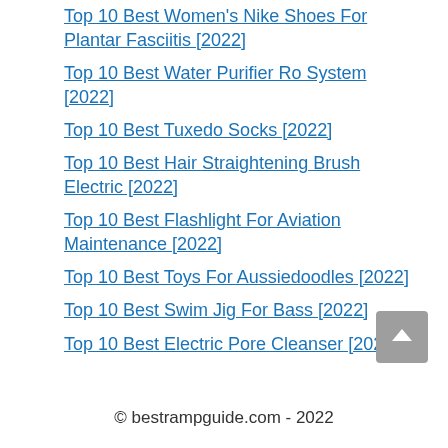2022
Top 10 Best Women's Nike Shoes For Plantar Fasciitis [2022]
Top 10 Best Water Purifier Ro System [2022]
Top 10 Best Tuxedo Socks [2022]
Top 10 Best Hair Straightening Brush Electric [2022]
Top 10 Best Flashlight For Aviation Maintenance [2022]
Top 10 Best Toys For Aussiedoodles [2022]
Top 10 Best Swim Jig For Bass [2022]
Top 10 Best Electric Pore Cleanser [2022]
© bestrampguide.com - 2022